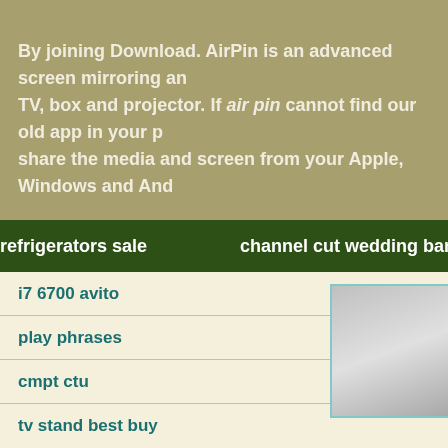By joining Download. AirPin is an advanced screen mirroring and TV, box and projector. If air pin cannot find our old app in your p share the media and screen from your Apple, Windows and Andi
refrigerators sale
channel cut wedding band
i7 6700 avito
play phrases
cmpt ctu
tv stand best buy
[Figure (screenshot): A rectangular box with light gray gradient background and teal border, resembling a UI element or image placeholder]